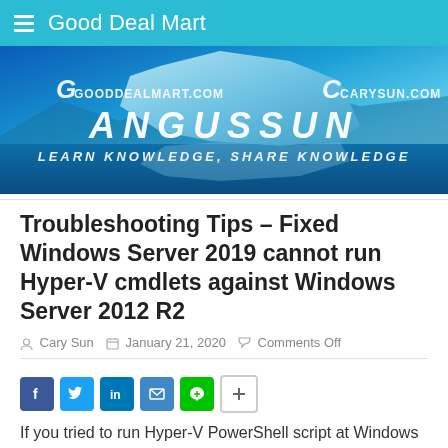Good Deal Mart
[Figure (illustration): Website banner for gooddealmart.com / carysun.com with text ANGUSSUN and LEARN KNOWLEDGE, SHARE KNOWLEDGE on a blue glacier/water background]
Troubleshooting Tips – Fixed Windows Server 2019 cannot run Hyper-V cmdlets against Windows Server 2012 R2
Cary Sun   January 21, 2020   Comments Off
[Figure (infographic): Social share icons: Facebook, Twitter, LinkedIn, Email, Line, Share/plus]
If you tried to run Hyper-V PowerShell script at Windows Server 2019 to get Hyper-V report from